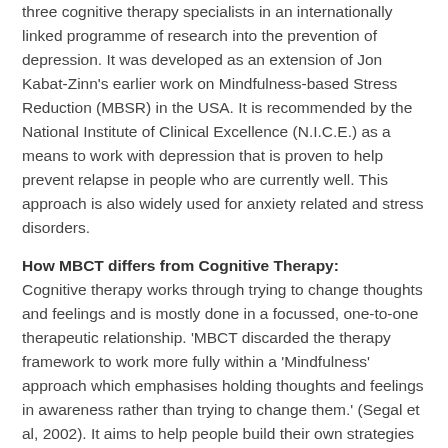three cognitive therapy specialists in an internationally linked programme of research into the prevention of depression. It was developed as an extension of Jon Kabat-Zinn's earlier work on Mindfulness-based Stress Reduction (MBSR) in the USA. It is recommended by the National Institute of Clinical Excellence (N.I.C.E.) as a means to work with depression that is proven to help prevent relapse in people who are currently well. This approach is also widely used for anxiety related and stress disorders.
How MBCT differs from Cognitive Therapy:
Cognitive therapy works through trying to change thoughts and feelings and is mostly done in a focussed, one-to-one therapeutic relationship. 'MBCT discarded the therapy framework to work more fully within a 'Mindfulness' approach which emphasises holding thoughts and feelings in awareness rather than trying to change them.' (Segal et al, 2002). It aims to help people build their own strategies for staying well, based on skills and practices that are best taught in a group rather than in a one-to-one context.
Core aims of MBCT: